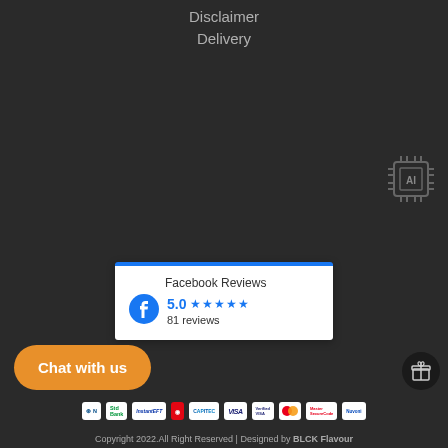Disclaimer
Delivery
[Figure (logo): AI chip icon in top-right area on dark background]
[Figure (infographic): Facebook Reviews widget showing 5.0 stars and 81 reviews]
Chat with us
[Figure (logo): Gift icon button]
[Figure (logo): Payment method logos bar including Nedbank, Standard Bank, InstantEFT, Zapper, Capitec, Visa, Verified by Visa, Mastercard, Mastercard SecureCode, Nuvoni]
Copyright 2022.All Right Reserved | Designed by BLCK Flavour